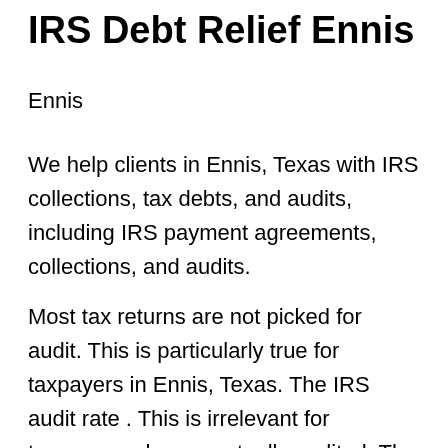IRS Debt Relief Ennis
Ennis
We help clients in Ennis, Texas with IRS collections, tax debts, and audits, including IRS payment agreements, collections, and audits.
Most tax returns are not picked for audit. This is particularly true for taxpayers in Ennis, Texas. The IRS audit rate . This is irrelevant for taxpayers who are actually audited. The IRS has been making large adjustments for taxpayers who are subject to audit.